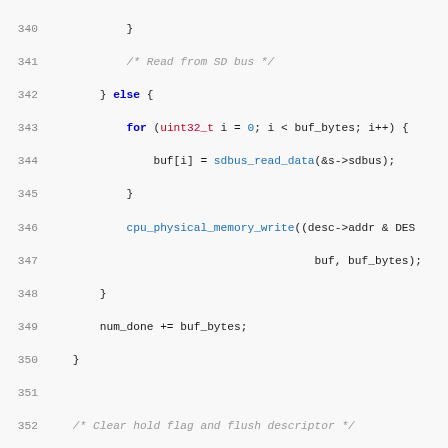[Figure (screenshot): Source code snippet in C showing sdhost DMA read/write functions with syntax highlighting. Line numbers 340-371 visible.]